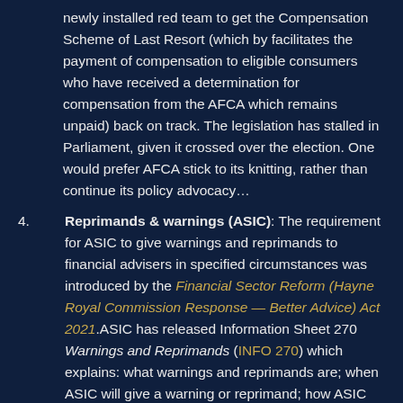newly installed red team to get the Compensation Scheme of Last Resort (which by facilitates the payment of compensation to eligible consumers who have received a determination for compensation from the AFCA which remains unpaid) back on track. The legislation has stalled in Parliament, given it crossed over the election. One would prefer AFCA stick to its knitting, rather than continue its policy advocacy…
4. Reprimands & warnings (ASIC): The requirement for ASIC to give warnings and reprimands to financial advisers in specified circumstances was introduced by the Financial Sector Reform (Hayne Royal Commission Response — Better Advice) Act 2021. ASIC has released Information Sheet 270 Warnings and Reprimands (INFO 270) which explains: what warnings and reprimands are; when ASIC will give a warning or reprimand; how ASIC will communicate the giving of a warning or reprimand; when and to whom ASIC will provide procedural fairness before